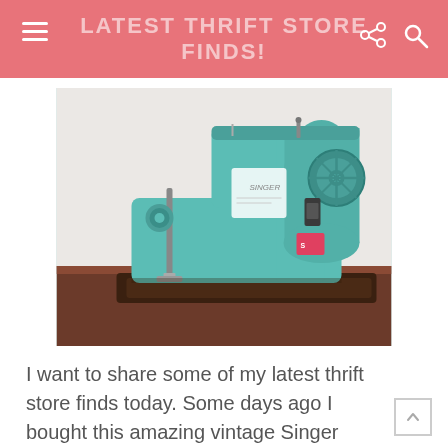LATEST THRIFT STORE FINDS!
[Figure (photo): A vintage teal/turquoise Singer sewing machine sitting on a dark wood table, photographed against a white brick wall background.]
I want to share some of my latest thrift store finds today. Some days ago I bought this amazing vintage Singer sewing machine in the thrift store. It wasn't really working, but I fixed it! At least for now. I hope it